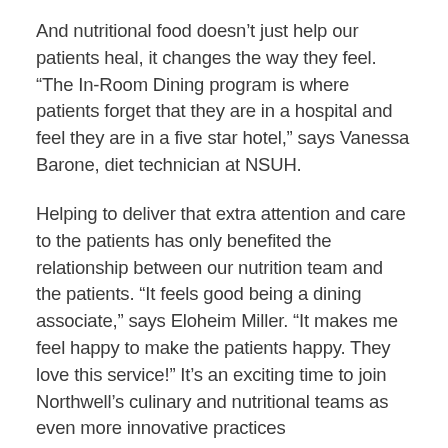And nutritional food doesn't just help our patients heal, it changes the way they feel. “The In-Room Dining program is where patients forget that they are in a hospital and feel they are in a five star hotel,” says Vanessa Barone, diet technician at NSUH.
Helping to deliver that extra attention and care to the patients has only benefited the relationship between our nutrition team and the patients. “It feels good being a dining associate,” says Eloheim Miller. “It makes me feel happy to make the patients happy. They love this service!” It’s an exciting time to join Northwell’s culinary and nutritional teams as even more innovative practices